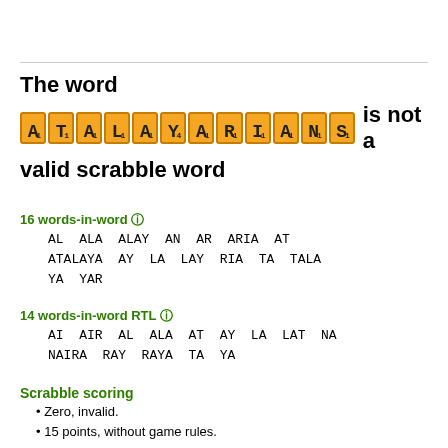The word ATALAYARIANS is not a valid scrabble word
16 words-in-word ⓘ
AL ALA ALAY AN AR ARIA AT ATALAYA AY LA LAY RIA TA TALA YA YAR
14 words-in-word RTL ⓘ
AI AIR AL ALA AT AY LA LAT NA NAIRA RAY RAYA TA YA
Scrabble scoring
Zero, invalid.
15 points, without game rules.